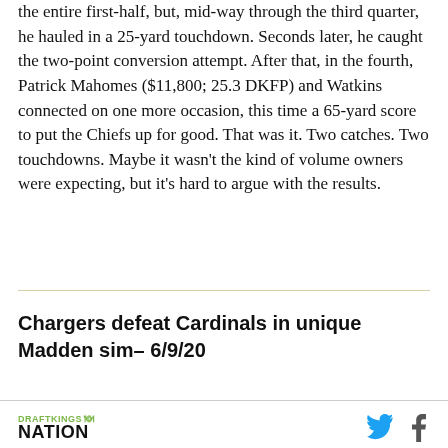the entire first-half, but, mid-way through the third quarter, he hauled in a 25-yard touchdown. Seconds later, he caught the two-point conversion attempt. After that, in the fourth, Patrick Mahomes ($11,800; 25.3 DKFP) and Watkins connected on one more occasion, this time a 65-yard score to put the Chiefs up for good. That was it. Two catches. Two touchdowns. Maybe it wasn't the kind of volume owners were expecting, but it's hard to argue with the results.
Chargers defeat Cardinals in unique Madden sim– 6/9/20
DRAFTKINGS NATION